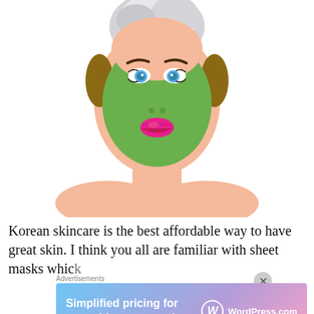[Figure (illustration): Illustrated woman with a green face mask, white towel on head, wearing no top, showing neck and bare shoulders. The face mask is bright green, with pink lips and teal eyes visible.]
Korean skincare is the best affordable way to have great skin. I think you all are familiar with sheet masks whic
Advertisements
[Figure (screenshot): WordPress.com advertisement banner with gradient background (blue to purple to pink). Text reads 'Simplified pricing for everything you need.' with WordPress.com logo on the right.]